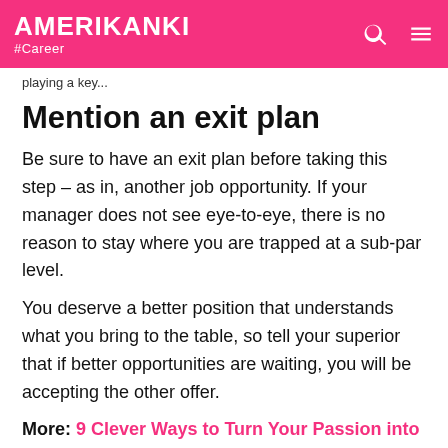AMERIKANKI #Career
playing a key...
Mention an exit plan
Be sure to have an exit plan before taking this step – as in, another job opportunity. If your manager does not see eye-to-eye, there is no reason to stay where you are trapped at a sub-par level.
You deserve a better position that understands what you bring to the table, so tell your superior that if better opportunities are waiting, you will be accepting the other offer.
More: 9 Clever Ways to Turn Your Passion into